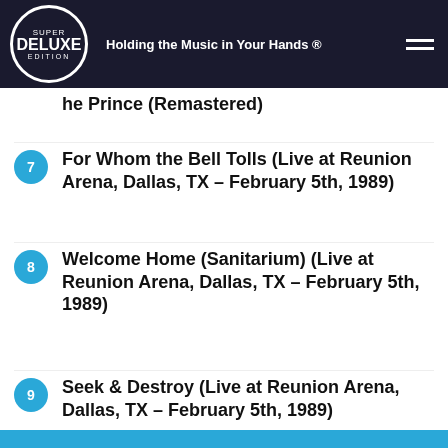Super Deluxe Edition – Holding the Music in Your Hands ®
he Prince (Remastered)
7 – For Whom the Bell Tolls (Live at Reunion Arena, Dallas, TX – February 5th, 1989)
8 – Welcome Home (Sanitarium) (Live at Reunion Arena, Dallas, TX – February 5th, 1989)
9 – Seek & Destroy (Live at Reunion Arena, Dallas, TX – February 5th, 1989)
10
[Figure (screenshot): Blue notification banner: X NEVER MISS A RELEASE.]
We use cookies on our website to give you the most relevant experience by remembering your preferences and repeat visits. By clicking "Accept", you consent to the use of ALL the cookies.
Cookie settings   ACCEPT